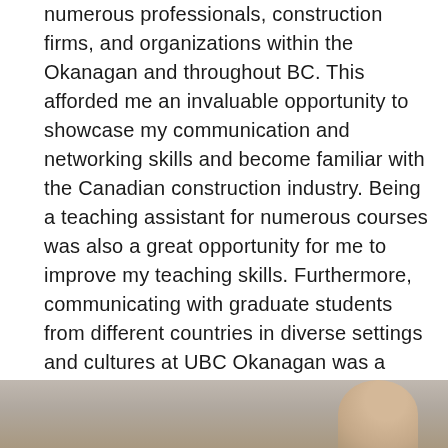numerous professionals, construction firms, and organizations within the Okanagan and throughout BC. This afforded me an invaluable opportunity to showcase my communication and networking skills and become familiar with the Canadian construction industry. Being a teaching assistant for numerous courses was also a great opportunity for me to improve my teaching skills. Furthermore, communicating with graduate students from different countries in diverse settings and cultures at UBC Okanagan was a memorable experience that contributed to my global outlook where I was able to learn about various cross-cultural norms and praxis. Last but not least, living in Kelowna in the heart of the Okanagan where the beautiful UBC Okanagan campus is located, has provided me and my family with an unforgettable experience.
[Figure (photo): Partial bottom photo showing a person, cropped at the bottom of the page with a grey/tan background]